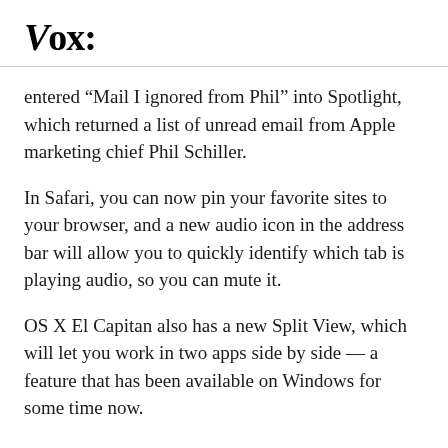Vox
entered “Mail I ignored from Phil” into Spotlight, which returned a list of unread email from Apple marketing chief Phil Schiller.
In Safari, you can now pin your favorite sites to your browser, and a new audio icon in the address bar will allow you to quickly identify which tab is playing audio, so you can mute it.
OS X El Capitan also has a new Split View, which will let you work in two apps side by side — a feature that has been available on Windows for some time now.